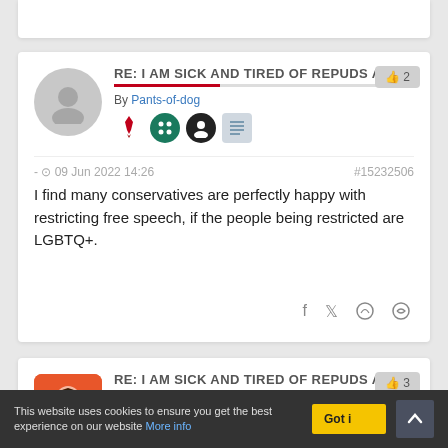RE: I AM SICK AND TIRED OF REPUDS AT
By Pants-of-dog
- 09 Jun 2022 14:26   #15232506
I find many conservatives are perfectly happy with restricting free speech, if the people being restricted are LGBTQ+.
RE: I AM SICK AND TIRED OF REPUDS AT
By Tainari88
This website uses cookies to ensure you get the best experience on our website More info